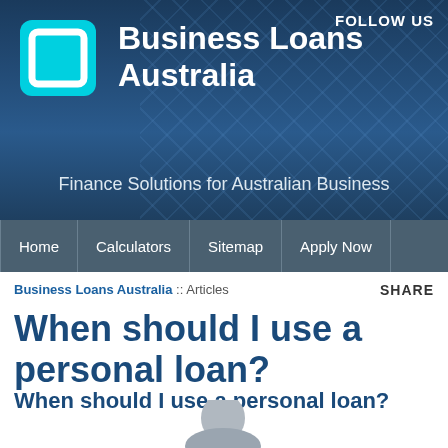Business Loans Australia — Finance Solutions for Australian Business
FOLLOW US
[Figure (logo): Business Loans Australia logo — cyan square icon with inner square cutout, white bold text]
Finance Solutions for Australian Business
Home | Calculators | Sitemap | Apply Now
Business Loans Australia :: Articles
SHARE
When should I use a personal loan?
When should I use a personal loan?
[Figure (photo): Photo of a man looking up with a thoughtful/confused expression, wearing a light blue shirt, on a white background]